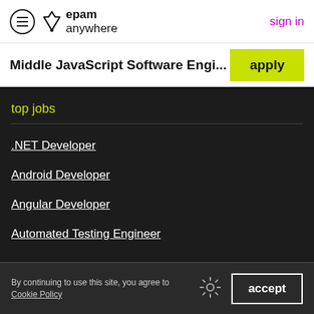epam anywhere | sign in
Middle JavaScript Software Engi...
top jobs
.NET Developer
Android Developer
Angular Developer
Automated Testing Engineer
By continuing to use this site, you agree to Cookie Policy